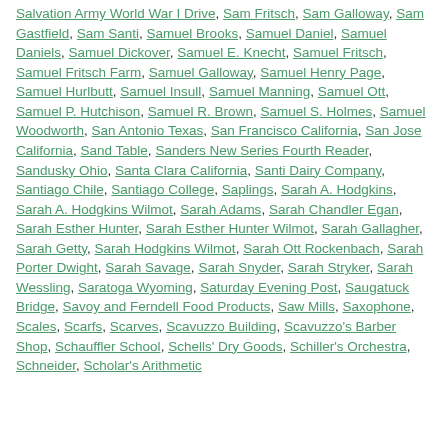Salvation Army World War I Drive, Sam Fritsch, Sam Galloway, Sam Gastfield, Sam Santi, Samuel Brooks, Samuel Daniel, Samuel Daniels, Samuel Dickover, Samuel E. Knecht, Samuel Fritsch, Samuel Fritsch Farm, Samuel Galloway, Samuel Henry Page, Samuel Hurlbutt, Samuel Insull, Samuel Manning, Samuel Ott, Samuel P. Hutchison, Samuel R. Brown, Samuel S. Holmes, Samuel Woodworth, San Antonio Texas, San Francisco California, San Jose California, Sand Table, Sanders New Series Fourth Reader, Sandusky Ohio, Santa Clara California, Santi Dairy Company, Santiago Chile, Santiago College, Saplings, Sarah A. Hodgkins, Sarah A. Hodgkins Wilmot, Sarah Adams, Sarah Chandler Egan, Sarah Esther Hunter, Sarah Esther Hunter Wilmot, Sarah Gallagher, Sarah Getty, Sarah Hodgkins Wilmot, Sarah Ott Rockenbach, Sarah Porter Dwight, Sarah Savage, Sarah Snyder, Sarah Stryker, Sarah Wessling, Saratoga Wyoming, Saturday Evening Post, Saugatuck Bridge, Savoy and Ferndell Food Products, Saw Mills, Saxophone, Scales, Scarfs, Scarves, Scavuzzo Building, Scavuzzo's Barber Shop, Schauffler School, Schells' Dry Goods, Schiller's Orchestra, Schneider, Scholar's Arithmetic